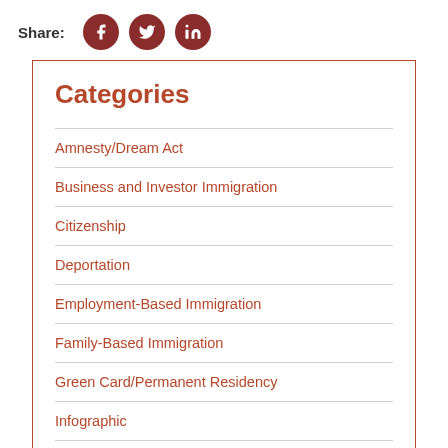Share:
Categories
Amnesty/Dream Act
Business and Investor Immigration
Citizenship
Deportation
Employment-Based Immigration
Family-Based Immigration
Green Card/Permanent Residency
Infographic
Nurse Visa
Press Release (partial)